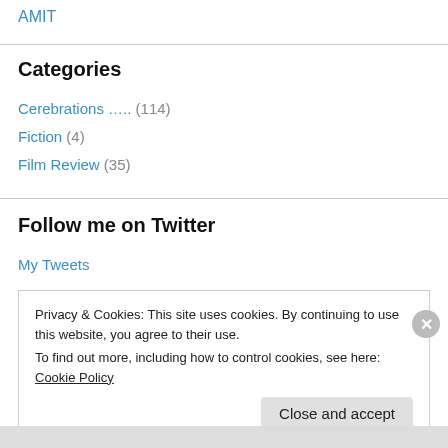AMIT
Categories
Cerebrations ….. (114)
Fiction (4)
Film Review (35)
Follow me on Twitter
My Tweets
Privacy & Cookies: This site uses cookies. By continuing to use this website, you agree to their use.
To find out more, including how to control cookies, see here: Cookie Policy
Close and accept